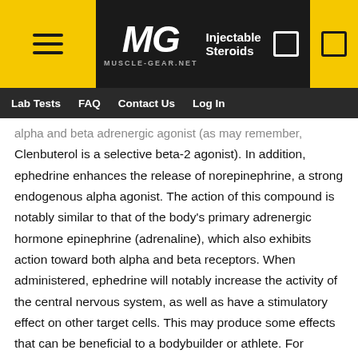MG MUSCLE-GEAR.NET | Injectable Steroids | Lab Tests | FAQ | Contact Us | Log In
alpha and beta adrenergic agonist (as may remember, Clenbuterol is a selective beta-2 agonist). In addition, ephedrine enhances the release of norepinephrine, a strong endogenous alpha agonist. The action of this compound is notably similar to that of the body's primary adrenergic hormone epinephrine (adrenaline), which also exhibits action toward both alpha and beta receptors. When administered, ephedrine will notably increase the activity of the central nervous system, as well as have a stimulatory effect on other target cells. This may produce some effects that can be beneficial to a bodybuilder or athlete. For starters, the user's body temperature should rise slightly as more free fatty acids are produced from the breakdown of triglycerides in adipose tissue (stimulating metabolism). This may aid in body fat reductions and increased vascularity. It is also believed that the